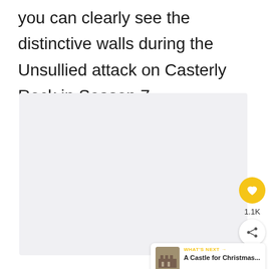you can clearly see the distinctive walls during the Unsullied attack on Casterly Rock in Season 7.
[Figure (photo): Light grey placeholder image area representing a photo of a castle location]
[Figure (screenshot): UI overlay with heart/like button showing 1.1K count and share button, plus a 'What's Next' card showing 'A Castle for Christmas...' thumbnail]